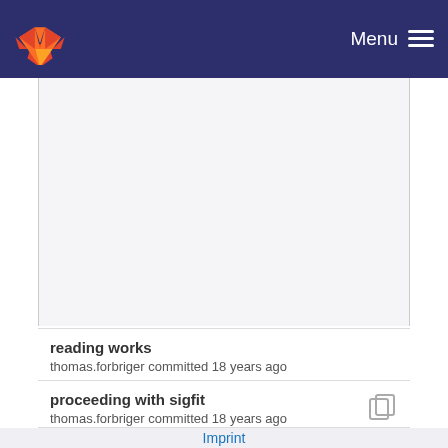Menu
reading works
thomas.forbriger committed 18 years ago
proceeding with sigfit
thomas.forbriger committed 18 years ago
reading works
Imprint